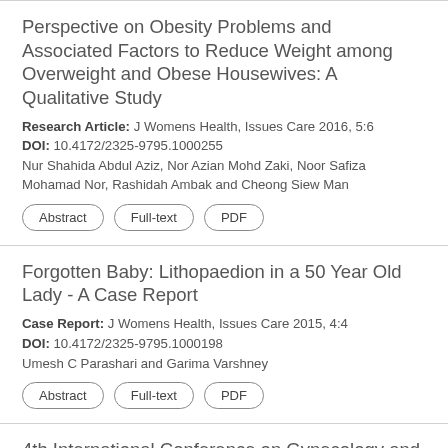Perspective on Obesity Problems and Associated Factors to Reduce Weight among Overweight and Obese Housewives: A Qualitative Study
Research Article: J Womens Health, Issues Care 2016, 5:6
DOI: 10.4172/2325-9795.1000255
Nur Shahida Abdul Aziz, Nor Azian Mohd Zaki, Noor Safiza Mohamad Nor, Rashidah Ambak and Cheong Siew Man
Forgotten Baby: Lithopaedion in a 50 Year Old Lady - A Case Report
Case Report: J Womens Health, Issues Care 2015, 4:4
DOI: 10.4172/2325-9795.1000198
Umesh C Parashari and Garima Varshney
4th International Conference on Gynecology and Obstetrics Pathology
Editorial: J Womens Health, Issues Care 2018, 8:5